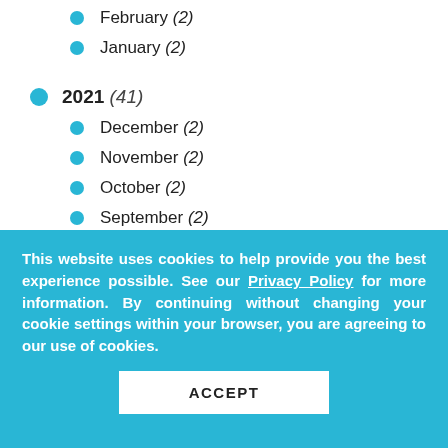February (2)
January (2)
2021 (41)
December (2)
November (2)
October (2)
September (2)
August (3)
July (4)
June (5)
This website uses cookies to help provide you the best experience possible. See our Privacy Policy for more information. By continuing without changing your cookie settings within your browser, you are agreeing to our use of cookies.
ACCEPT